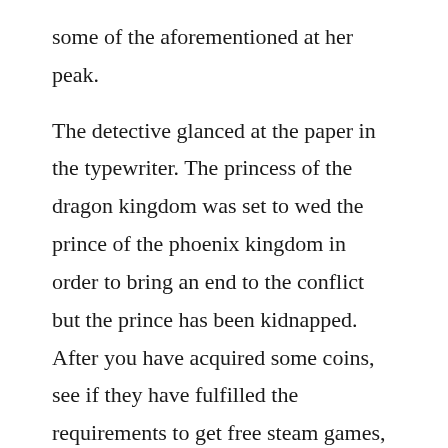some of the aforementioned at her peak.

The detective glanced at the paper in the typewriter. The princess of the dragon kingdom was set to wed the prince of the phoenix kingdom in order to bring an end to the conflict but the prince has been kidnapped. After you have acquired some coins, see if they have fulfilled the requirements to get free steam games, keys, giveaways and codes. May 05, 2018 come on in seems some of yall liked my story, so heres another. Tennessee johnson 1942 katso ilmaiseksi koko elokuva.